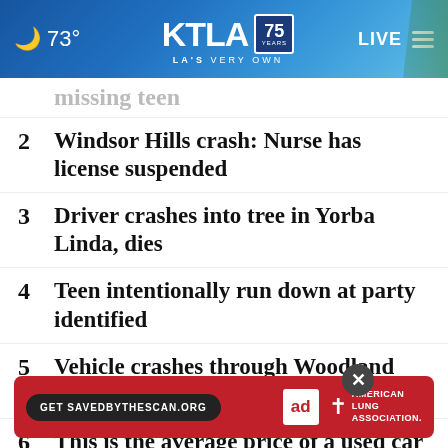KTLA 75 Years — LA's Very Own | 73° | LIVE
missing teen
2  Windsor Hills crash: Nurse has license suspended
3  Driver crashes into tree in Yorba Linda, dies
4  Teen intentionally run down at party identified
5  Vehicle crashes through Woodland Hills Whole Foods
6  This is the average price of a used car in California
7  B... robbery fears
[Figure (screenshot): Ad banner: 'Get SAVEDBYTHESCAN.ORG' with Ad Council and American Lung Association logos on red background]